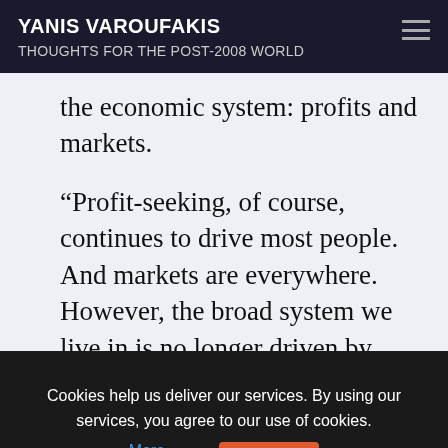YANIS VAROUFAKIS
THOUGHTS FOR THE POST-2008 WORLD
the economic system: profits and markets.
“Profit-seeking, of course, continues to drive most people. And markets are everywhere. However, the broad system we live in is no longer driven by private profits. Nor is, these days, the market the main
Cookies help us deliver our services. By using our services, you agree to our use of cookies. More Information  Accept